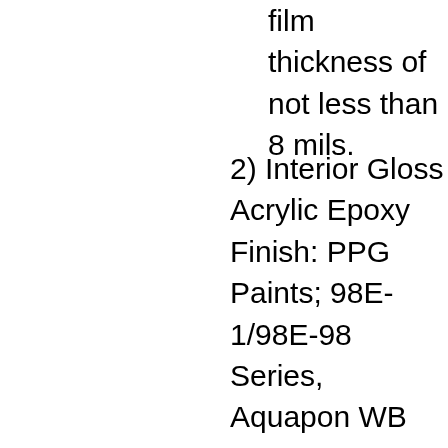film thickness of not less than 8 mils.
2) Interior Gloss Acrylic Epoxy Finish: PPG Paints; 98E-1/98E-98 Series, Aquapon WB EP Two-